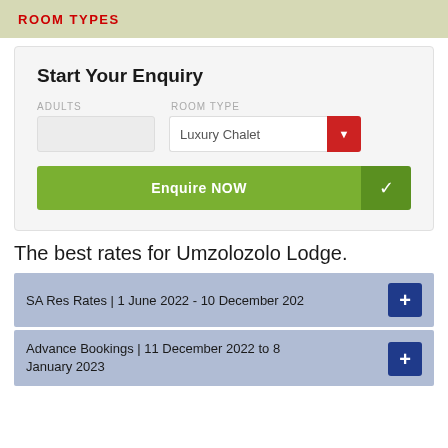ROOM TYPES
Start Your Enquiry
ADULTS   ROOM TYPE
[Adults input]  Luxury Chalet [dropdown]
[Enquire NOW button]
The best rates for Umzolozolo Lodge.
SA Res Rates | 1 June 2022 - 10 December 202[2]
Advance Bookings | 11 December 2022 to 8 January 2023